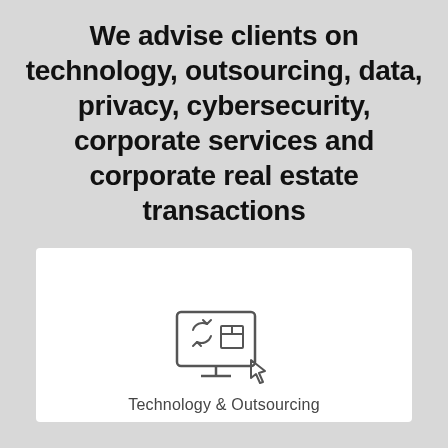We advise clients on technology, outsourcing, data, privacy, cybersecurity, corporate services and corporate real estate transactions
[Figure (illustration): Line-art icon of a computer monitor displaying a package/box and a refresh/transfer arrow, with a cursor arrow pointing at the screen. Below the icon is the label 'Technology & Outsourcing'.]
Technology & Outsourcing